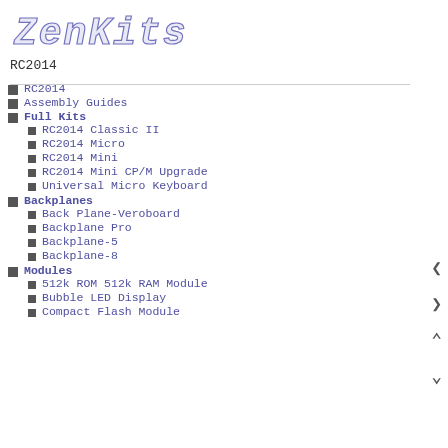[Figure (logo): ZenKits logo in pixel/dot-matrix style lettering]
RC2014
RC2014
Assembly Guides
Full Kits
RC2014 Classic II
RC2014 Micro
RC2014 Mini
RC2014 Mini CP/M Upgrade
Universal Micro Keyboard
Backplanes
Back Plane-Veroboard
Backplane Pro
Backplane-5
Backplane-8
Modules
512k ROM 512k RAM Module
Bubble LED Display
Compact Flash Module